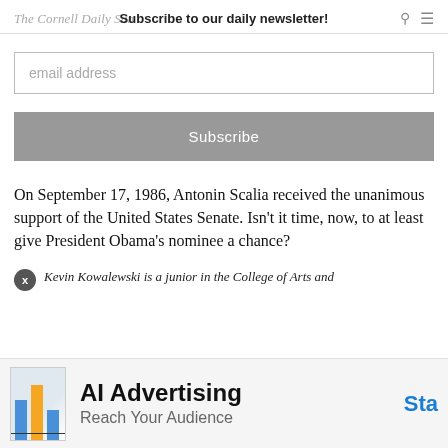The Cornell Daily Sun — Subscribe to our daily newsletter!
email address
Subscribe
On September 17, 1986, Antonin Scalia received the unanimous support of the United States Senate. Isn't it time, now, to at least give President Obama's nominee a chance?
Kevin Kowalewski is a junior in the College of Arts and
[Figure (screenshot): AI Advertising — Reach Your Audience advertisement banner at bottom of page]